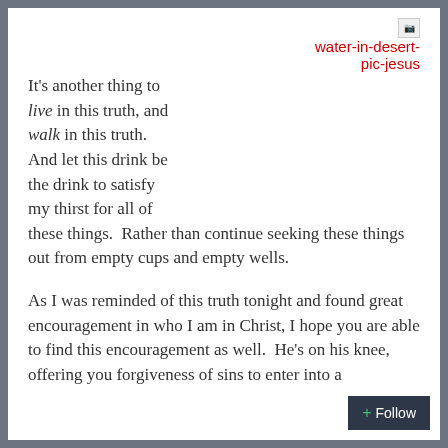[Figure (other): Broken image placeholder with label 'water-in-desert-pic-jesus' shown in red text to the right]
It's another thing to live in this truth, and walk in this truth. And let this drink be the drink to satisfy my thirst for all of these things.  Rather than continue seeking these things out from empty cups and empty wells.
As I was reminded of this truth tonight and found great encouragement in who I am in Christ, I hope you are able to find this encouragement as well.  He's on his knee, offering you forgiveness of sins to enter into a communion with him. Will you receive him? As